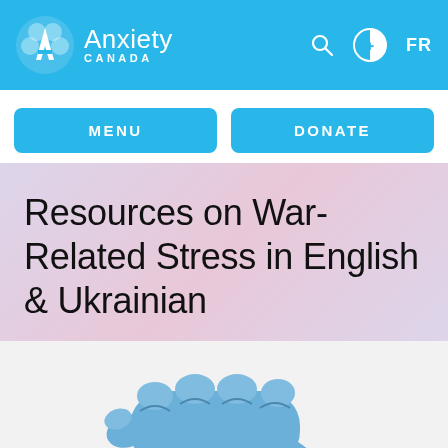Anxiety Canada
MENU
DONATE
Resources on War-Related Stress in English & Ukrainian
[Figure (photo): A blue-painted fist photographed from below against a white background]